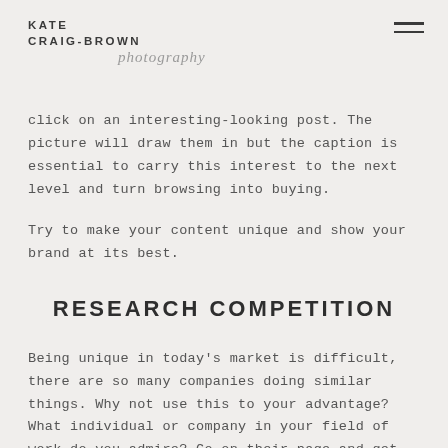KATE CRAIG-BROWN photography
click on an interesting-looking post. The picture will draw them in but the caption is essential to carry this interest to the next level and turn browsing into buying.
Try to make your content unique and show your brand at its best.
RESEARCH COMPETITION
Being unique in today's market is difficult, there are so many companies doing similar things. Why not use this to your advantage? What individual or company in your field of work do you admire? Go on their page and get inspiration and ideas from what they are doing.